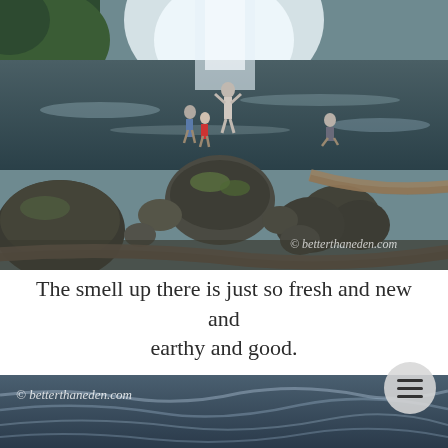[Figure (photo): Outdoor nature photo showing a rocky riverbed with large moss-covered boulders, driftwood logs, and a waterfall in the background. Several people stand near the water. Watermark reads '© betterthaneden.com' in bottom right.]
The smell up there is just so fresh and new and earthy and good.
[Figure (photo): Partial photo showing a dark blue-grey choppy water scene. Watermark reads '© betterthaneden.com' in top left. A circular grey menu button with three horizontal lines appears in the top right.]